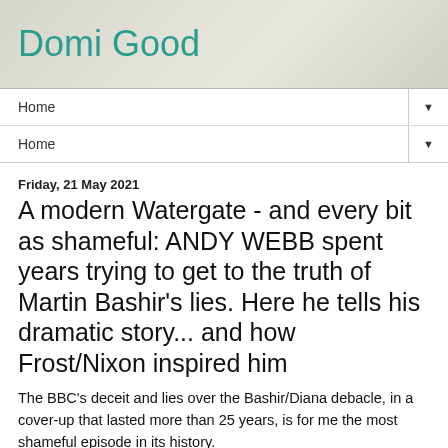Domi Good
Home
Home
Friday, 21 May 2021
A modern Watergate - and every bit as shameful: ANDY WEBB spent years trying to get to the truth of Martin Bashir's lies. Here he tells his dramatic story... and how Frost/Nixon inspired him
The BBC's deceit and lies over the Bashir/Diana debacle, in a cover-up that lasted more than 25 years, is for me the most shameful episode in its history.